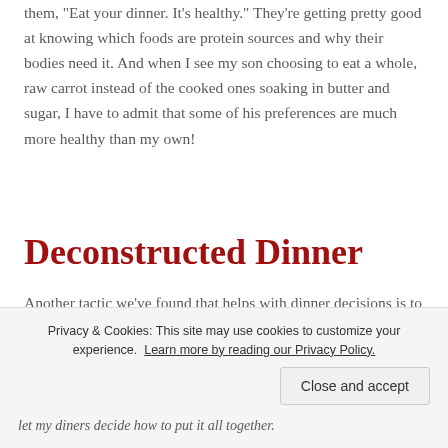them, "Eat your dinner. It's healthy." They're getting pretty good at knowing which foods are protein sources and why their bodies need it. And when I see my son choosing to eat a whole, raw carrot instead of the cooked ones soaking in butter and sugar, I have to admit that some of his preferences are much more healthy than my own!
Deconstructed Dinner
Another tactic we've found that helps with dinner decisions is to deconstruct dinner. Essentially,
let my diners decide how to put it all together.
Privacy & Cookies: This site may use cookies to customize your experience. Learn more by reading our Privacy Policy.